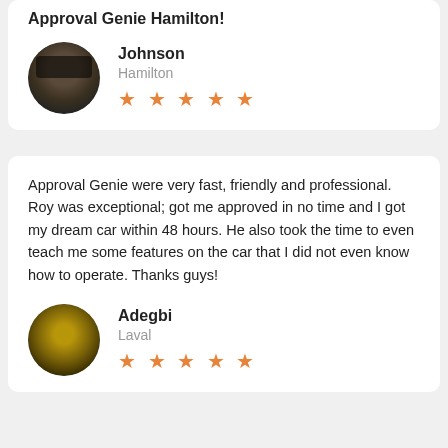Approval Genie Hamilton!
Johnson
Hamilton
★★★★★
Approval Genie were very fast, friendly and professional. Roy was exceptional; got me approved in no time and I got my dream car within 48 hours. He also took the time to even teach me some features on the car that I did not even know how to operate. Thanks guys!
Adegbi
Laval
★★★★★